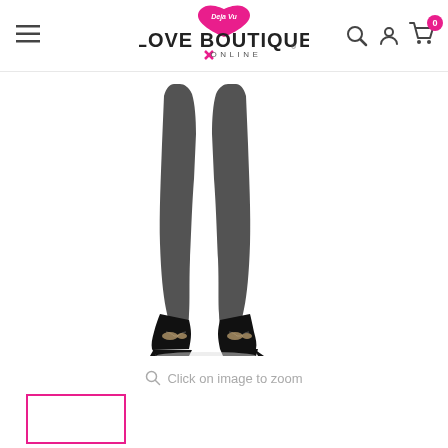Love Boutique Online - navigation header with hamburger menu, logo, search, account, and cart icons
[Figure (photo): Close-up photo of a woman's legs from the shins down, wearing black sheer stockings and black open-toe high heel shoes, on a white background]
Click on image to zoom
[Figure (photo): Thumbnail image preview box with pink border, empty/white content]